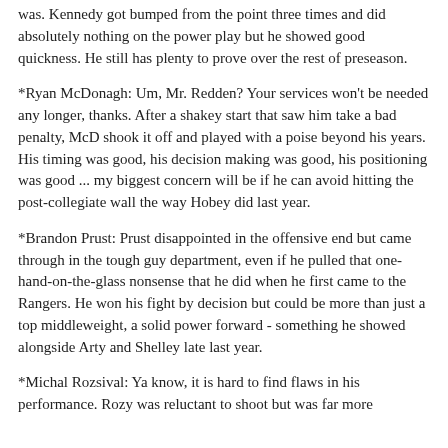did absolutely nothing on the power play but he showed good quickness. He still has plenty to prove over the rest of preseason.
*Ryan McDonagh: Um, Mr. Redden? Your services won't be needed any longer, thanks. After a shakey start that saw him take a bad penalty, McD shook it off and played with a poise beyond his years. His timing was good, his decision making was good, his positioning was good ... my biggest concern will be if he can avoid hitting the post-collegiate wall the way Hobey did last year.
*Brandon Prust: Prust disappointed in the offensive end but came through in the tough guy department, even if he pulled that one-hand-on-the-glass nonsense that he did when he first came to the Rangers. He won his fight by decision but could be more than just a top middleweight, a solid power forward - something he showed alongside Arty and Shelley late last year.
*Michal Rozsival: Ya know, it is hard to find flaws in his performance. Rozy was reluctant to shoot but was far more